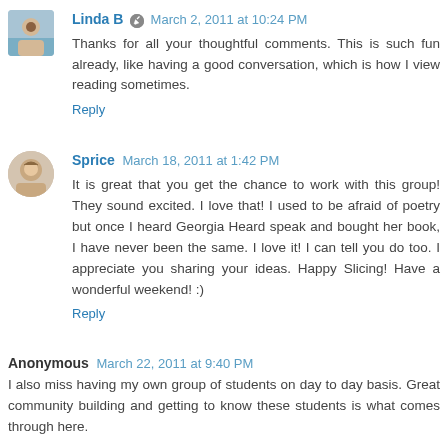Linda B  March 2, 2011 at 10:24 PM
Thanks for all your thoughtful comments. This is such fun already, like having a good conversation, which is how I view reading sometimes.
Reply
Sprice  March 18, 2011 at 1:42 PM
It is great that you get the chance to work with this group! They sound excited. I love that! I used to be afraid of poetry but once I heard Georgia Heard speak and bought her book, I have never been the same. I love it! I can tell you do too. I appreciate you sharing your ideas. Happy Slicing! Have a wonderful weekend! :)
Reply
Anonymous  March 22, 2011 at 9:40 PM
I also miss having my own group of students on day to day basis. Great community building and getting to know these students is what comes through here.